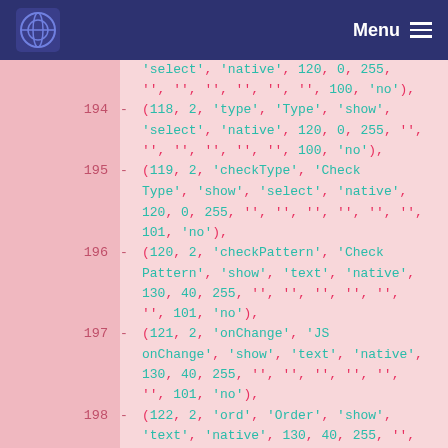Menu navigation bar with logo
194 - (118, 2, 'type', 'Type', 'show', 'select', 'native', 120, 0, 255, '', '', '', '', '', '', 100, 'no'),
195 - (119, 2, 'checkType', 'Check Type', 'show', 'select', 'native', 120, 0, 255, '', '', '', '', '', '', 101, 'no'),
196 - (120, 2, 'checkPattern', 'Check Pattern', 'show', 'text', 'native', 130, 40, 255, '', '', '', '', '', '', '', 101, 'no'),
197 - (121, 2, 'onChange', 'JS onChange', 'show', 'text', 'native', 130, 40, 255, '', '', '', '', '', '', '', 101, 'no'),
198 - (122, 2, 'ord', 'Order', 'show', 'text', 'native', 130, 40, 255, '', '', '', '', '', '', '', 101, 'no'),